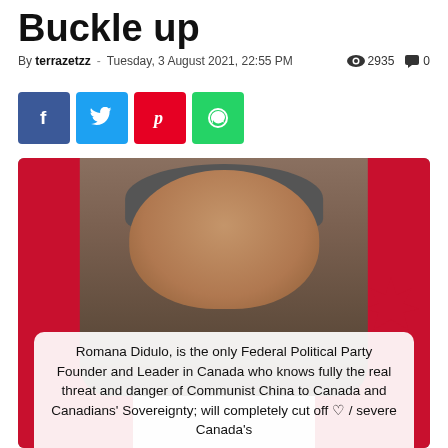Buckle up
By terrazetzz - Tuesday, 3 August 2021, 22:55 PM  2935  0
[Figure (photo): Social media share buttons: Facebook (blue), Twitter (light blue), Pinterest (red), WhatsApp (green)]
[Figure (photo): Person standing in front of a Canadian flag. A text overlay box at the bottom reads: Romana Didulo, is the only Federal Political Party Founder and Leader in Canada who knows fully the real threat and danger of Communist China to Canada and Canadians' Sovereignty; will completely cut off / severe Canada's]
Romana Didulo, is the only Federal Political Party Founder and Leader in Canada who knows fully the real threat and danger of Communist China to Canada and Canadians' Sovereignty; will completely cut off / severe Canada's